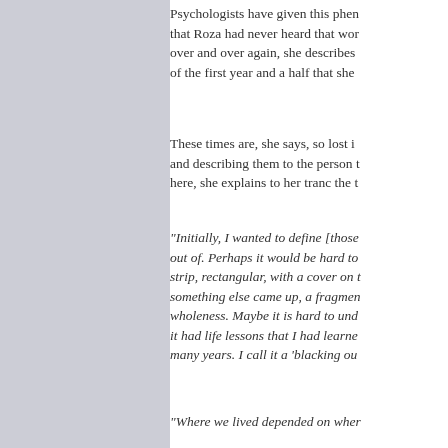Psychologists have given this phen... that Roza had never heard that wor... over and over again, she describes... of the first year and a half that she...
These times are, she says, so lost i... and describing them to the person t... here, she explains to her tranc the t...
"Initially, I wanted to define [those... out of. Perhaps it would be hard to... strip, rectangular, with a cover on t... something else came up, a fragmen... wholeness. Maybe it is hard to und... it had life lessons that I had learne... many years. I call it a 'blacking ou...
"Where we lived depended on wher...